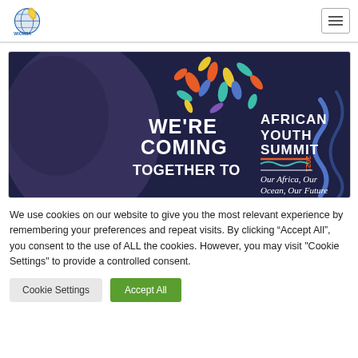WIOMSA logo and navigation menu button
[Figure (illustration): African Youth Summit 2021 banner — dark navy background with colorful leaf confetti shapes, a silhouetted figure, bold white text reading WE'RE COMING TOGETHER TO, and the words AFRICAN YOUTH SUMMIT 2021 in orange/white lettering. Subtitle: Our Africa, Our Ocean, Our Future.]
We use cookies on our website to give you the most relevant experience by remembering your preferences and repeat visits. By clicking “Accept All”, you consent to the use of ALL the cookies. However, you may visit "Cookie Settings" to provide a controlled consent.
Cookie Settings | Accept All